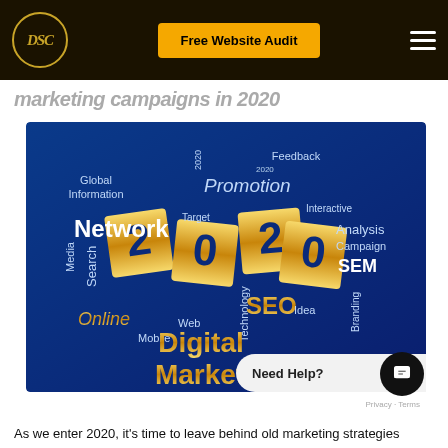DSC | Free Website Audit
marketing campaigns in 2020
[Figure (illustration): Digital marketing word cloud illustration for 2020 on a blue background with gold '2020' numbers and marketing terms: Network, Promotion, Advertising, SEO, Digital Marketing, Online, SEM, Search, Media, Global, Information, Feedback, Interactive, Target, Web, Mobile, Technology, Idea, Analysis, Campaign, Branding]
Need Help?
As we enter 2020, it's time to leave behind old marketing strategies